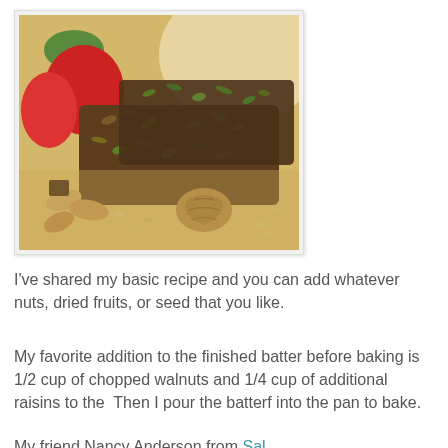[Figure (photo): Photo of granola/seed bars with visible nuts and oats, surrounded by strawberries, almonds, walnuts, sunflower seeds on a wooden surface.]
I've shared my basic recipe and you can add whatever nuts, dried fruits, or seed that you like.
My favorite addition to the finished batter before baking is 1/2 cup of chopped walnuts and 1/4 cup of additional raisins to the  Then I pour the batterf into the pan to bake.
My friend Nancy Anderson from Sal...